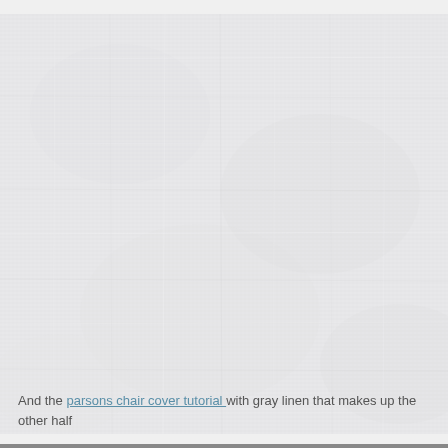[Figure (photo): Close-up photograph of gray/white linen fabric texture filling most of the page area]
And the parsons chair cover tutorial with gray linen that makes up the other half